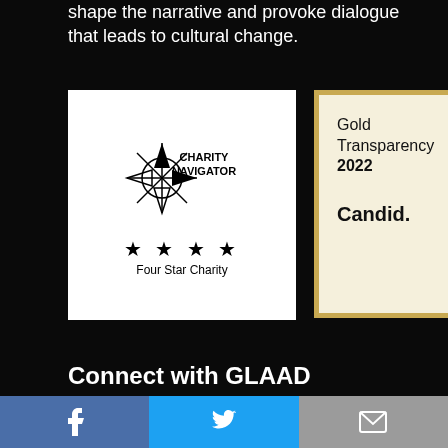shape the narrative and provoke dialogue that leads to cultural change.
[Figure (logo): Charity Navigator Four Star Charity badge (white background, compass rose graphic, four stars)]
[Figure (logo): Candid Gold Transparency 2022 badge (gold border, cream background)]
Connect with GLAAD
Twitter
Facebook
Instagram
YouTube
TikTok
Facebook | Twitter | Email share bar